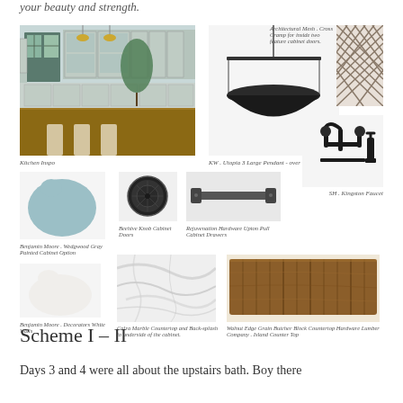your beauty and strength.
[Figure (photo): Kitchen inspiration photo showing light gray cabinets with glass fronts, wood island, and plants]
Kitchen Inspo
[Figure (photo): KW Utopia 3 Large Pendant light over island - black arched pendant]
KW . Utopia 3 Large Pendant - over the Island
[Figure (photo): Architectural mesh cross cramp pattern for cabinet doors]
Architectural Mesh . Cross Cramp for inside two feature cabinet doors.
[Figure (photo): SH Kingston black faucet bridge style]
SH . Kingston Faucet
[Figure (photo): Benjamin Moore Wedgwood Gray blue paint swatch blob]
Benjamin Moore . Wedgwood Gray Painted Cabinet Option
[Figure (photo): Beehive black knob for cabinet doors]
Beehive Knob Cabinet Doors
[Figure (photo): Rejuvenation Hardware Upton Pull for cabinet drawers]
Rejuvenation Hardware Upton Pull Cabinet Drawers
[Figure (photo): Benjamin Moore Decorators White paint swatch blob]
Benjamin Moore . Decorators White Walls
[Figure (photo): Calra Marble countertop and backsplash]
Calra Marble Countertop and Back-splash to underside of the cabinet.
[Figure (photo): Walnut Edge Grain Butcher Block Countertop for island]
Walnut Edge Grain Butcher Block Countertop Hardware Lumber Company . Island Counter Top
Scheme I – II
Days 3 and 4 were all about the upstairs bath. Boy there